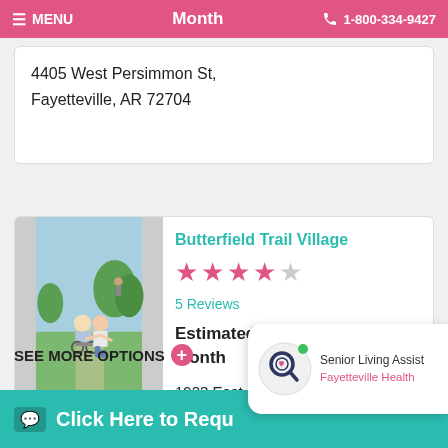≡ MENU   Month   📞 1-800-334-9427
4405 West Persimmon St,
Fayetteville, AR 72704
Butterfield Trail Village
★★★★☆  5 Reviews
Estimated Cost: $5,383 / Month
1923 East Joyce Blvd,
Fayetteville, AR 72703
SEE MORE OPTIONS +
Click Here to Requ...
Senior Living Assist
Fayetteville Health